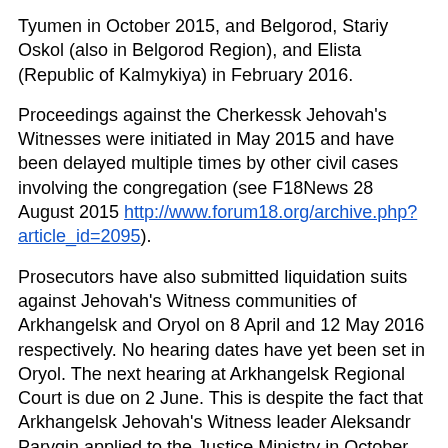Tyumen in October 2015, and Belgorod, Stariy Oskol (also in Belgorod Region), and Elista (Republic of Kalmykiya) in February 2016.
Proceedings against the Cherkessk Jehovah's Witnesses were initiated in May 2015 and have been delayed multiple times by other civil cases involving the congregation (see F18News 28 August 2015 http://www.forum18.org/archive.php?article_id=2095).
Prosecutors have also submitted liquidation suits against Jehovah's Witness communities of Arkhangelsk and Oryol on 8 April and 12 May 2016 respectively. No hearing dates have yet been set in Oryol. The next hearing at Arkhangelsk Regional Court is due on 2 June. This is despite the fact that Arkhangelsk Jehovah's Witness leader Aleksandr Parygin applied to the Justice Ministry in October 2015 to have the community dissolved at its own request (see F18News 22 March 2016 http://www.forum18.org/archive.php?article_id=2161).
The Belgorod, Stariy Oskol, and Elista congregations